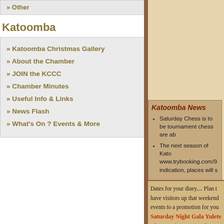Other
Katoomba
Katoomba Christmas Gallery
About the Chamber
JOIN the KCCC
Chamber Minutes
Useful Info & Links
News Flash
What's On ? Events & More
Katoomba News
Saturday Chess is to be tournament chess are ab
The next season of Kato www.trybooking.com/9 indication, places will s
Dates for your diary.... Plan t have visitors up that weekend events to a promotion for you Saturday Night Gala Yulete The Carrington Hotel Sat 02 Aug Moving House: Susan & Pe